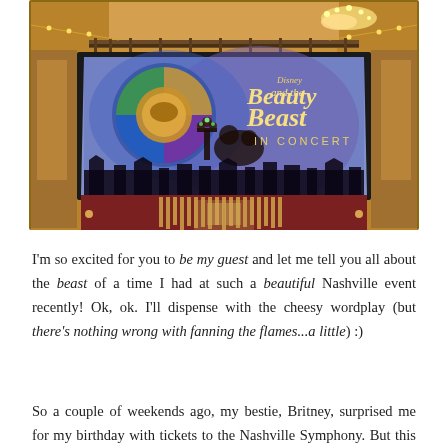[Figure (photo): Interior of Nashville Symphony concert hall showing a large projection screen displaying the Disney 'Beauty and the Beast IN CONCERT' logo with a blue/purple background and silhouettes of characters. Warm amber lighting from chandeliers visible above, organ pipes below the screen.]
I'm so excited for you to be my guest and let me tell you all about the beast of a time I had at such a beautiful Nashville event recently! Ok, ok. I'll dispense with the cheesy wordplay (but there's nothing wrong with fanning the flames...a little) :)
So a couple of weekends ago, my bestie, Britney, surprised me for my birthday with tickets to the Nashville Symphony. But this wasn't just